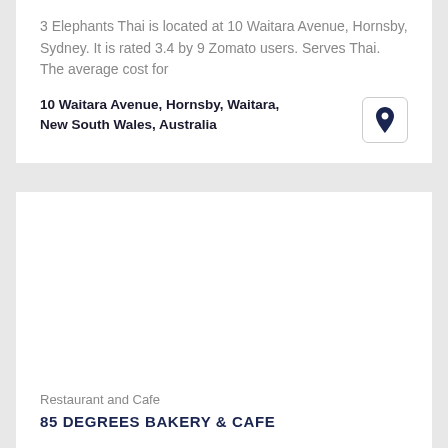3 Elephants Thai is located at 10 Waitara Avenue, Hornsby, Sydney. It is rated 3.4 by 9 Zomato users. Serves Thai. The average cost for
10 Waitara Avenue, Hornsby, Waitara, New South Wales, Australia
[Figure (illustration): Map pin / location icon inside a rounded rectangle button]
Restaurant and Cafe
85 DEGREES BAKERY & CAFE